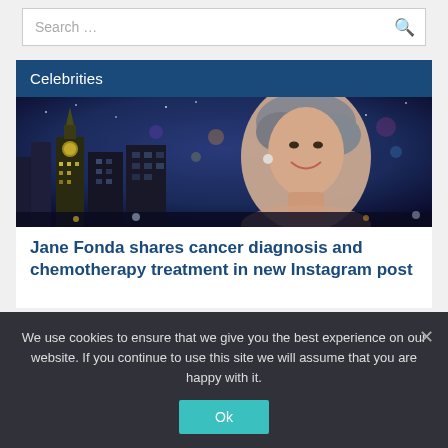Search …
Celebrities
[Figure (photo): Woman with grey hair smiling, against a night cityscape background with a lit tower visible]
Jane Fonda shares cancer diagnosis and chemotherapy treatment in new Instagram post
We use cookies to ensure that we give you the best experience on our website. If you continue to use this site we will assume that you are happy with it.